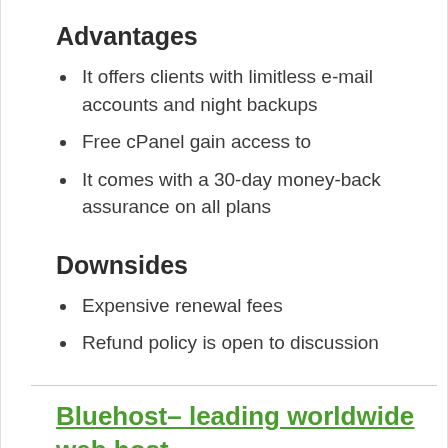Advantages
It offers clients with limitless e-mail accounts and night backups
Free cPanel gain access to
It comes with a 30-day money-back assurance on all plans
Downsides
Expensive renewal fees
Refund policy is open to discussion
Bluehost– leading worldwide web host